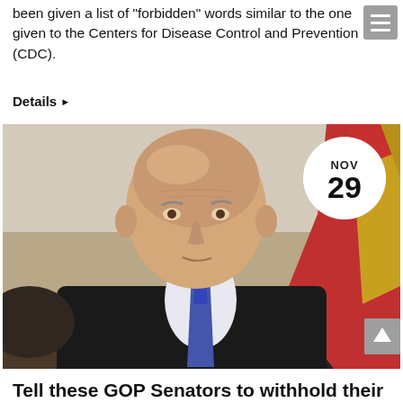been given a list of "forbidden" words similar to the one given to the Centers for Disease Control and Prevention (CDC).
Details ▶
[Figure (photo): Photograph of an older bald man in a dark suit and blue tie, seated, with a red and gold flag visible in the background. A white circular date badge overlays the upper right corner showing NOV 29.]
Tell these GOP Senators to withhold their